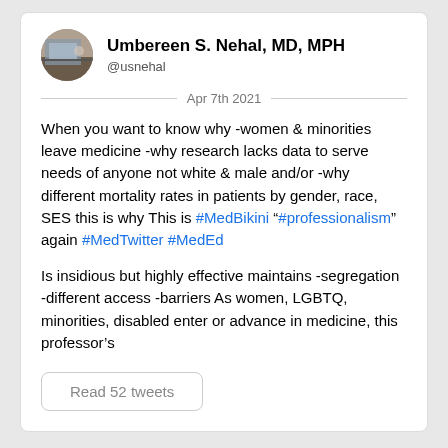Umbereen S. Nehal, MD, MPH
@usnehal
Apr 7th 2021
When you want to know why -women & minorities leave medicine -why research lacks data to serve needs of anyone not white & male and/or -why different mortality rates in patients by gender, race, SES this is why This is #MedBikini “#professionalism” again #MedTwitter #MedEd
Is insidious but highly effective maintains -segregation -different access -barriers As women, LGBTQ, minorities, disabled enter or advance in medicine, this professor’s
Read 52 tweets